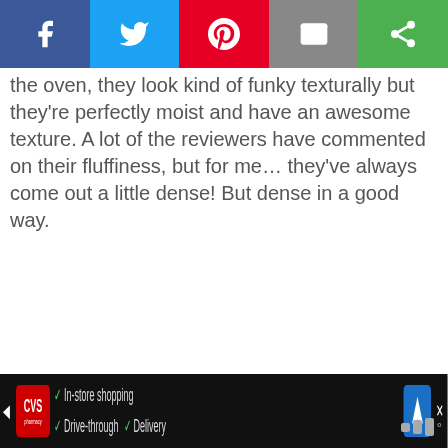[Figure (screenshot): Social media share buttons bar: Facebook (blue), Twitter (light blue), Pinterest (red), Email (gray), other (green)]
the oven, they look kind of funky texturally but they're perfectly moist and have an awesome texture. A lot of the reviewers have commented on their fluffiness, but for me… they've always come out a little dense! But dense in a good way.
[Figure (screenshot): Advertisement: Know the Signs. Save Lives. Bullying — especially if targeted towards differences in race, religion, gender or sexual orientation — can be a sign of potential violence. www.sandyhookpromise.org]
[Figure (screenshot): CVS Pharmacy advertisement bar: In-store shopping, Drive-through, Delivery]